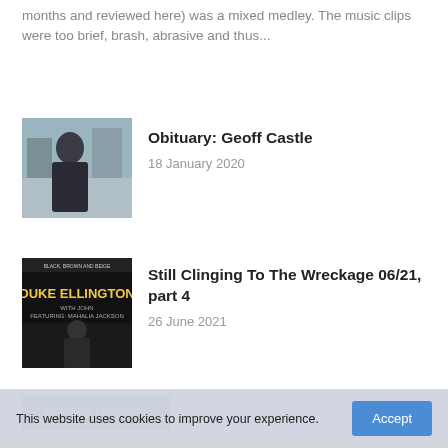months and reviewed here) was a mixed medley. The music clips were too brief, brash, abrasive and thus...
Obituary: Geoff Castle
18 January 2020
[Figure (photo): Outdoor photo of a man, possibly a musician]
Still Clinging To The Wreckage 06/21, part 4
26 June 2021
[Figure (photo): Duke Ellington album cover - Black, Brown and Beige]
In Book Reviews
[Figure (photo): Yellow banner with 'the cricket' text in large black bold font]
This website uses cookies to improve your experience.